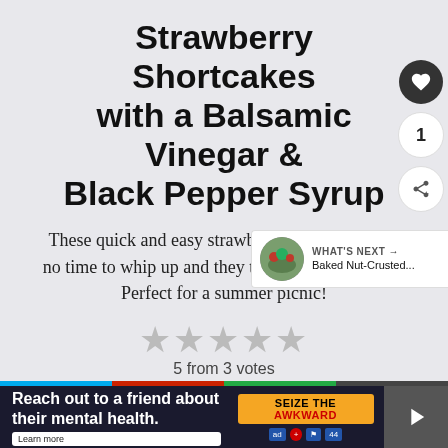Strawberry Shortcakes with a Balsamic Vinegar & Black Pepper Syrup
These quick and easy strawberry shortcakes take no time to whip up and they taste utterly amazing! Perfect for a summer picnic!
5 from 3 votes
Print  Rate
Prep Time: 10 minutes
Cook Time: 15 minutes
WHAT'S NEXT → Baked Nut-Crusted...
Reach out to a friend about their mental health. Learn more  SEIZE THE AWKWARD